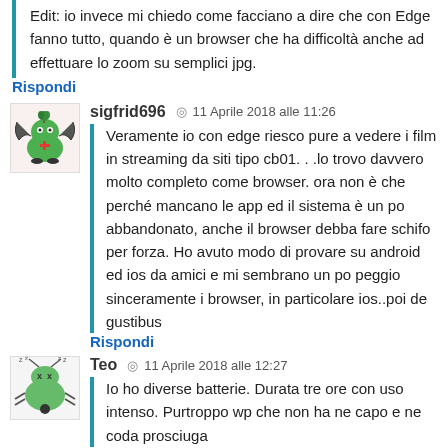Edit: io invece mi chiedo come facciano a dire che con Edge fanno tutto, quando è un browser che ha difficoltà anche ad effettuare lo zoom su semplici jpg.
Rispondi
sigfrid696 ◎ 11 Aprile 2018 alle 11:26
Veramente io con edge riesco pure a vedere i film in streaming da siti tipo cb01. . .lo trovo davvero molto completo come browser. ora non è che perché mancano le app ed il sistema è un po abbandonato, anche il browser debba fare schifo per forza. Ho avuto modo di provare su android ed ios da amici e mi sembrano un po peggio sinceramente i browser, in particolare ios..poi de gustibus
Rispondi
Teo ◎ 11 Aprile 2018 alle 12:27
Io ho diverse batterie. Durata tre ore con uso intenso. Purtroppo wp che non ha ne capo e ne coda prosciuga...